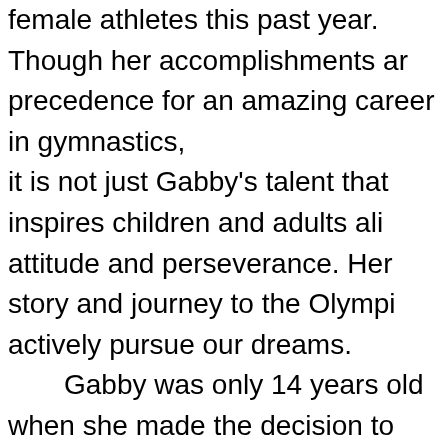female athletes this past year. Though her accomplishments are precedence for an amazing career in gymnastics, it is not just Gabby's talent that inspires children and adults alike attitude and perseverance. Her story and journey to the Olympics actively pursue our dreams. Gabby was only 14 years old when she made the decision to Chow, the former coach of 2008 Olympic gold medalist Shawn for her and her family, but in multiple interviews she states that receive the type of training that she needed to become an Olymp is no small feat for a 14 year old; especially for one that is leaving order to pursue her dream of an Olympic gold medal. It was the of faith that put Gabby on the path to her many future accomplishments historical win at the 2012 Summer Olympics. Since the 2012 Summer Olympics, Gabby has become a positive is now sponsored by major corporations, such as P&G and Kellogg's positive personality and presence is her strength to speak on issues